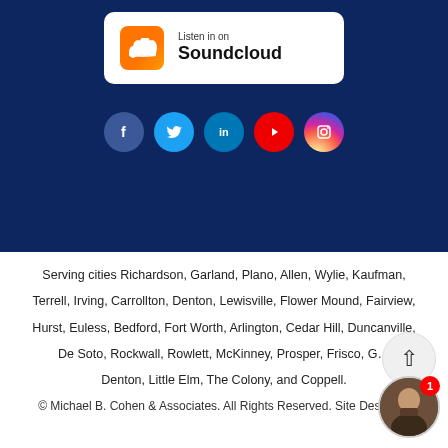[Figure (logo): Soundcloud listen badge with orange cloud icon and text 'Listen in on Soundcloud']
[Figure (infographic): Row of social media icon circles: Facebook, Twitter, LinkedIn, YouTube, Instagram]
Serving cities Richardson, Garland, Plano, Allen, Wylie, Kaufman, Terrell, Irving, Carrollton, Denton, Lewisville, Flower Mound, Fairview, Hurst, Euless, Bedford, Fort Worth, Arlington, Cedar Hill, Duncanville, De Soto, Rockwall, Rowlett, McKinney, Prosper, Frisco, G... Denton, Little Elm, The Colony, and Coppell.
© Michael B. Cohen & Associates. All Rights Reserved. Site Designed